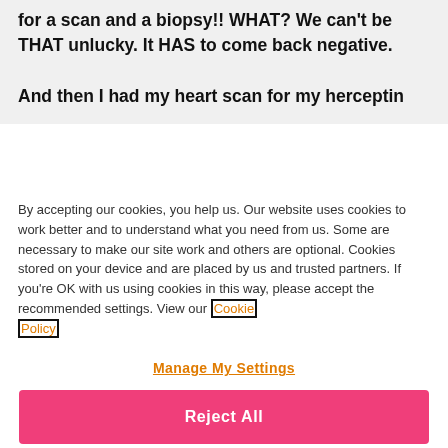for a scan and a biopsy!! WHAT? We can't be THAT unlucky. It HAS to come back negative.

And then I had my heart scan for my herceptin
By accepting our cookies, you help us. Our website uses cookies to work better and to understand what you need from us. Some are necessary to make our site work and others are optional. Cookies stored on your device and are placed by us and trusted partners. If you're OK with us using cookies in this way, please accept the recommended settings. View our Cookie Policy
Manage My Settings
Reject All
Accept All Cookies